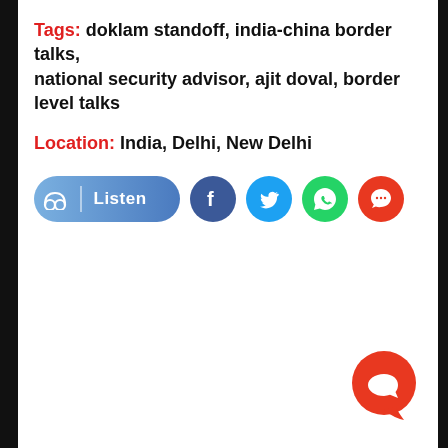Tags: doklam standoff, india-china border talks, national security advisor, ajit doval, border level talks
Location: India, Delhi, New Delhi
[Figure (other): Social sharing toolbar with Listen button, Facebook, Twitter, WhatsApp, and Comment icons]
[Figure (other): Floating orange comment/chat button at bottom right]